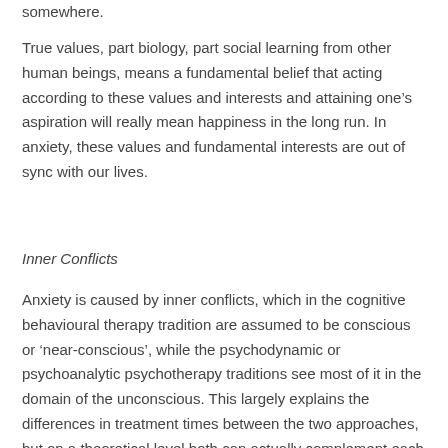somewhere.
True values, part biology, part social learning from other human beings, means a fundamental belief that acting according to these values and interests and attaining one’s aspiration will really mean happiness in the long run. In anxiety, these values and fundamental interests are out of sync with our lives.
Inner Conflicts
Anxiety is caused by inner conflicts, which in the cognitive behavioural therapy tradition are assumed to be conscious or ‘near-conscious’, while the psychodynamic or psychoanalytic psychotherapy traditions see most of it in the domain of the unconscious. This largely explains the differences in treatment times between the two approaches, but on a theoretical level both can actually complement each other quite well. Fundamentally the